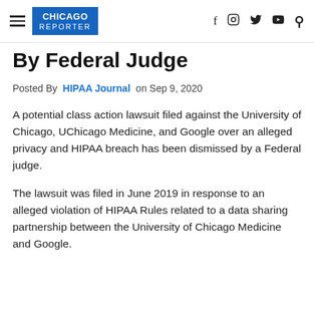CHICAGO REPORTER
By Federal Judge
Posted By HIPAA Journal on Sep 9, 2020
A potential class action lawsuit filed against the University of Chicago, UChicago Medicine, and Google over an alleged privacy and HIPAA breach has been dismissed by a Federal judge.
The lawsuit was filed in June 2019 in response to an alleged violation of HIPAA Rules related to a data sharing partnership between the University of Chicago Medicine and Google.